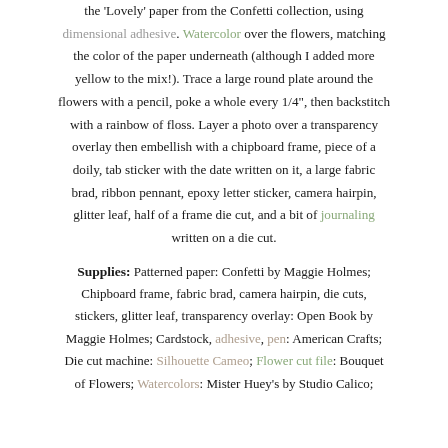the 'Lovely' paper from the Confetti collection, using dimensional adhesive. Watercolor over the flowers, matching the color of the paper underneath (although I added more yellow to the mix!). Trace a large round plate around the flowers with a pencil, poke a whole every 1/4", then backstitch with a rainbow of floss. Layer a photo over a transparency overlay then embellish with a chipboard frame, piece of a doily, tab sticker with the date written on it, a large fabric brad, ribbon pennant, epoxy letter sticker, camera hairpin, glitter leaf, half of a frame die cut, and a bit of journaling written on a die cut.
Supplies: Patterned paper: Confetti by Maggie Holmes; Chipboard frame, fabric brad, camera hairpin, die cuts, stickers, glitter leaf, transparency overlay: Open Book by Maggie Holmes; Cardstock, adhesive, pen: American Crafts; Die cut machine: Silhouette Cameo; Flower cut file: Bouquet of Flowers; Watercolors: Mister Huey's by Studio Calico;